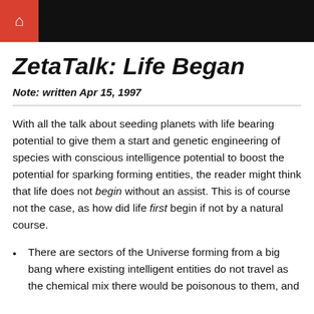Home
ZetaTalk: Life Began
Note: written Apr 15, 1997
With all the talk about seeding planets with life bearing potential to give them a start and genetic engineering of species with conscious intelligence potential to boost the potential for sparking forming entities, the reader might think that life does not begin without an assist. This is of course not the case, as how did life first begin if not by a natural course.
There are sectors of the Universe forming from a big bang where existing intelligent entities do not travel as the chemical mix there would be poisonous to them, and